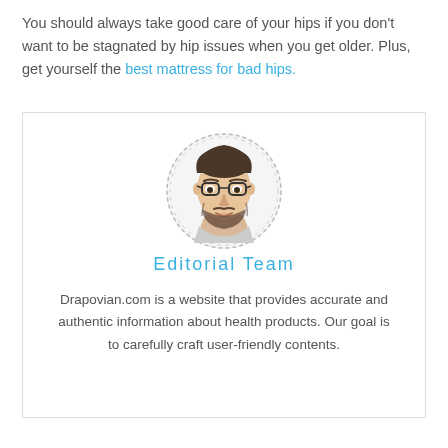You should always take good care of your hips if you don't want to be stagnated by hip issues when you get older. Plus, get yourself the best mattress for bad hips.
[Figure (illustration): Illustrated portrait of a young man with glasses and beard, sketch/cartoon style]
Editorial Team
Drapovian.com is a website that provides accurate and authentic information about health products. Our goal is to carefully craft user-friendly contents.